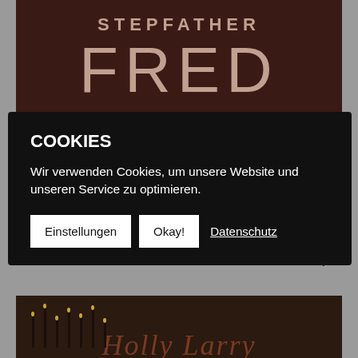[Figure (photo): Album cover with dark brown background showing the text 'STEPFATHER' and large letters 'FRED' in light tan/beige color]
COOKIES
Wir verwenden Cookies, um unsere Website und unseren Service zu optimieren.
Einstellungen   Okay!   Datenschutz
Unplugged & Handmade
€7,99 €4,99
[Figure (photo): Dark album cover with candelabras and cursive text reading 'Holly Larry']